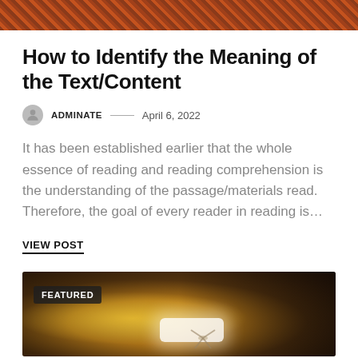[Figure (photo): Reddish-brown textured banner image at the top of the page, resembling a brick or earthy texture pattern.]
How to Identify the Meaning of the Text/Content
ADMINATE — April 6, 2022
It has been established earlier that the whole essence of reading and reading comprehension is the understanding of the passage/materials read. Therefore, the goal of every reader in reading is…
VIEW POST
[Figure (photo): Featured photo showing a dimly lit room interior with a glowing yellow lamp or ceiling light, fan visible, dark bookshelves in background, with a 'FEATURED' badge overlay.]